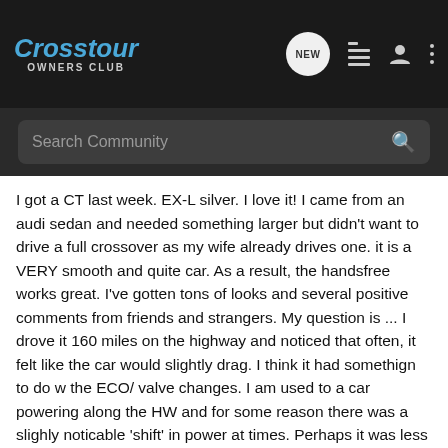Crosstour OWNERS CLUB
Search Community
I got a CT last week. EX-L silver. I love it! I came from an audi sedan and needed something larger but didn't want to drive a full crossover as my wife already drives one. it is a VERY smooth and quite car. As a result, the handsfree works great. I've gotten tons of looks and several positive comments from friends and strangers. My question is ... I drove it 160 miles on the highway and noticed that often, it felt like the car would slightly drag. I think it had somethign to do w the ECO/ valve changes. I am used to a car powering along the HW and for some reason there was a slighly noticable 'shift' in power at times. Perhaps it was less power to the engine? The speed didn't change but I could feel something in the car - almost like a slight headwind. Of course, if it means the difference between 17mpg and 25mpg, i'll take it. Just curious if anyone else has noticed this and/or if the car is 'breaking-in'.